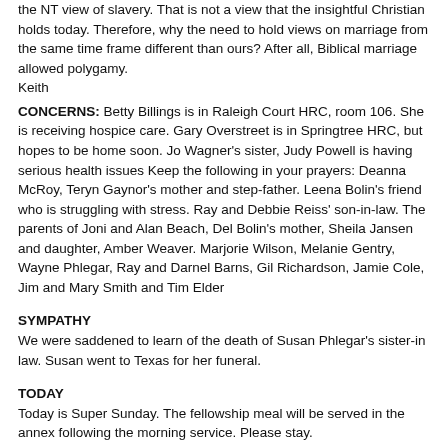the NT view of slavery. That is not a view that the insightful Christian holds today. Therefore, why the need to hold views on marriage from the same time frame different than ours? After all, Biblical marriage allowed polygamy.
Keith
CONCERNS:
Betty Billings is in Raleigh Court HRC, room 106. She is receiving hospice care. Gary Overstreet is in Springtree HRC, but hopes to be home soon. Jo Wagner's sister, Judy Powell is having serious health issues Keep the following in your prayers: Deanna McRoy, Teryn Gaynor's mother and step-father. Leena Bolin's friend who is struggling with stress. Ray and Debbie Reiss' son-in-law. The parents of Joni and Alan Beach, Del Bolin's mother, Sheila Jansen and daughter, Amber Weaver. Marjorie Wilson, Melanie Gentry, Wayne Phlegar, Ray and Darnel Barns, Gil Richardson, Jamie Cole, Jim and Mary Smith and Tim Elder
SYMPATHY
We were saddened to learn of the death of Susan Phlegar's sister-in law. Susan went to Texas for her funeral.
TODAY
Today is Super Sunday. The fellowship meal will be served in the annex following the morning service. Please stay.
THE STEERING COMMITTEE
If there is a need the steering committee will meet in the library after the meal.